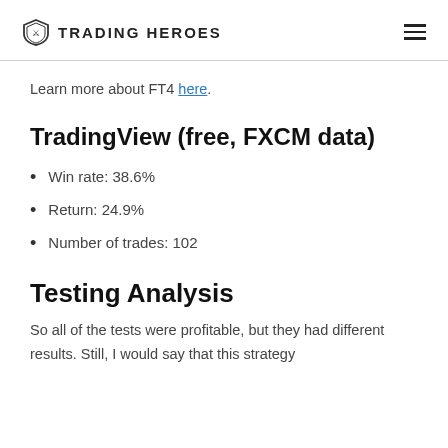TRADING HEROES
Learn more about FT4 here.
TradingView (free, FXCM data)
Win rate: 38.6%
Return: 24.9%
Number of trades: 102
Testing Analysis
So all of the tests were profitable, but they had different results. Still, I would say that this strategy